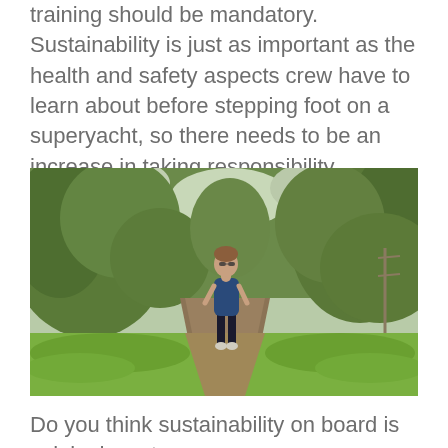training should be mandatory. Sustainability is just as important as the health and safety aspects crew have to learn about before stepping foot on a superyacht, so there needs to be an increase in taking responsibility throughout the industry to ensure crew are equipped to be sustainable.
[Figure (photo): A woman with sunglasses and a blue sleeveless top and black leggings walking along a grassy dirt path through lush green vegetation and trees on a cloudy day.]
Do you think sustainability on board is solely down to